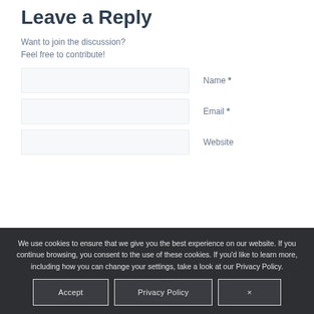Leave a Reply
Want to join the discussion?
Feel free to contribute!
Name *
Email *
Website
We use cookies to ensure that we give you the best experience on our website. If you continue browsing, you consent to the use of these cookies. If you'd like to learn more, including how you can change your settings, take a look at our Privacy Policy.
Accept
Privacy Policy
×